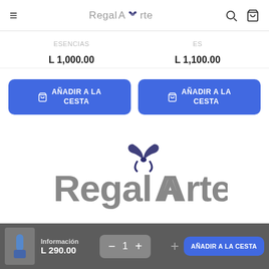RegalArte — navigation header with hamburger menu, logo, search and cart icons
L 1,000.00
L 1,100.00
AÑADIR A LA CESTA
AÑADIR A LA CESTA
[Figure (logo): RegalArte logo with gift bow icon — gray text with dark navy bow]
Información  L 290.00  −  1  +  AÑADIR A LA CESTA